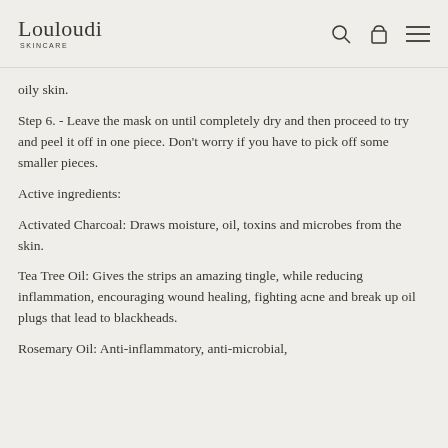Louloudi SKINCARE
oily skin.
Step 6. - Leave the mask on until completely dry and then proceed to try and peel it off in one piece. Don't worry if you have to pick off some smaller pieces.
Active ingredients:
Activated Charcoal: Draws moisture, oil, toxins and microbes from the skin.
Tea Tree Oil: Gives the strips an amazing tingle, while reducing inflammation, encouraging wound healing, fighting acne and break up oil plugs that lead to blackheads.
Rosemary Oil: Anti-inflammatory, anti-microbial,